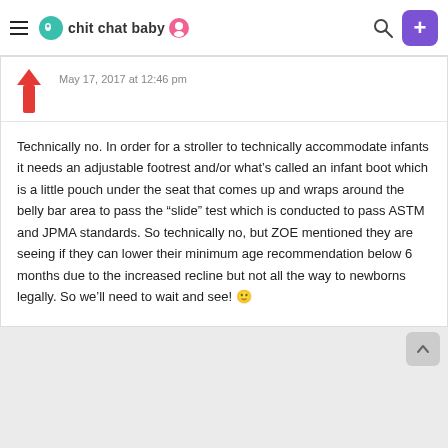chit chat baby
May 17, 2017 at 12:46 pm
Technically no. In order for a stroller to technically accommodate infants it needs an adjustable footrest and/or what's called an infant boot which is a little pouch under the seat that comes up and wraps around the belly bar area to pass the “slide” test which is conducted to pass ASTM and JPMA standards. So technically no, but ZOE mentioned they are seeing if they can lower their minimum age recommendation below 6 months due to the increased recline but not all the way to newborns legally. So we’ll need to wait and see! 🙂